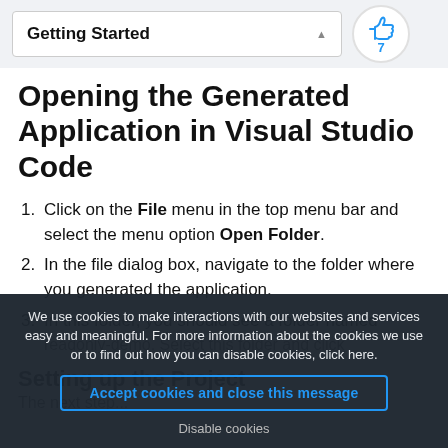Getting Started
Opening the Generated Application in Visual Studio Code
Click on the File menu in the top menu bar and select the menu option Open Folder.
In the file dialog box, navigate to the folder where you generated the application.
In this folder, you should see a folder named readonly-demo. Select this folder and click
Setting up the Project
The next step...
We use cookies to make interactions with our websites and services easy and meaningful. For more information about the cookies we use or to find out how you can disable cookies, click here.
Accept cookies and close this message
Disable cookies